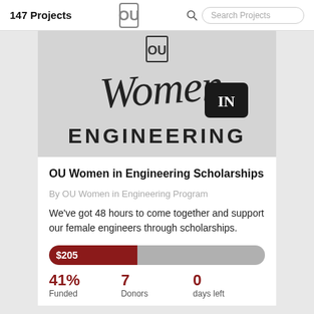147 Projects
[Figure (logo): Women in Engineering logo with OU university mark, script 'Women' text with 'IN' badge and 'ENGINEERING' in block letters]
OU Women in Engineering Scholarships
By OU Women in Engineering Program
We've got 48 hours to come together and support our female engineers through scholarships.
[Figure (infographic): Progress bar showing $205 raised at 41% funded]
41% Funded  7 Donors  0 days left